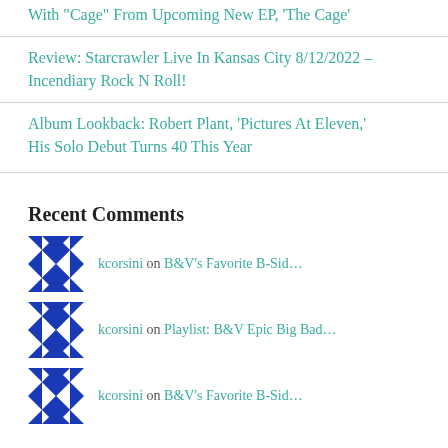With "Cage" From Upcoming New EP, 'The Cage'
Review: Starcrawler Live In Kansas City 8/12/2022 – Incendiary Rock N Roll!
Album Lookback: Robert Plant, 'Pictures At Eleven,' His Solo Debut Turns 40 This Year
Recent Comments
kcorsini on B&V's Favorite B-Sid…
kcorsini on Playlist: B&V Epic Big Bad…
kcorsini on B&V's Favorite B-Sid…